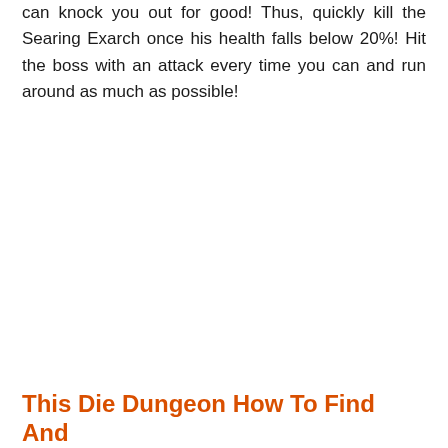can knock you out for good! Thus, quickly kill the Searing Exarch once his health falls below 20%! Hit the boss with an attack every time you can and run around as much as possible!
This Die Dungeon How To Find And...